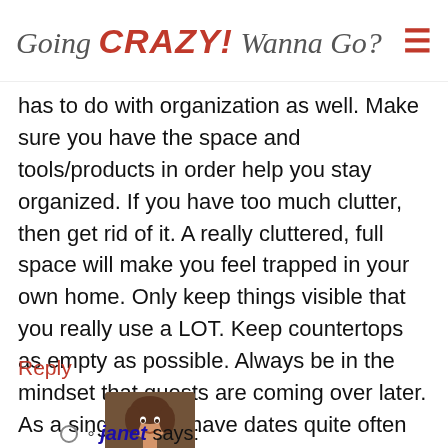Going CRAZY! Wanna Go?
has to do with organization as well. Make sure you have the space and tools/products in order help you stay organized. If you have too much clutter, then get rid of it. A really cluttered, full space will make you feel trapped in your own home. Only keep things visible that you really use a LOT. Keep countertops as empty as possible. Always be in the mindset that guests are coming over later. As a single guy, I have dates quite often and my place has to be spotless. Create a party! That will force you to clean the heck out of the palce haha.
Reply
[Figure (photo): Avatar photo of a woman named janet wearing an orange shirt, smiling]
janet says: at